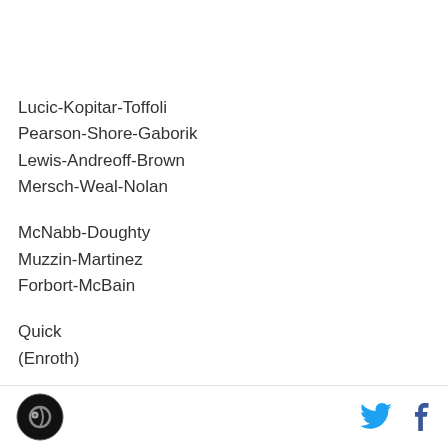Lucic-Kopitar-Toffoli
Pearson-Shore-Gaborik
Lewis-Andreoff-Brown
Mersch-Weal-Nolan
McNabb-Doughty
Muzzin-Martinez
Forbort-McBain
Quick
(Enroth)